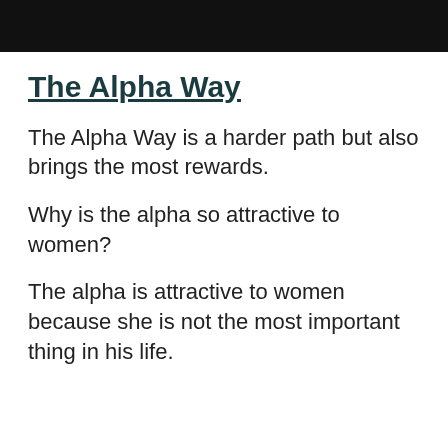The Alpha Way
The Alpha Way is a harder path but also brings the most rewards.
Why is the alpha so attractive to women?
The alpha is attractive to women because she is not the most important thing in his life.